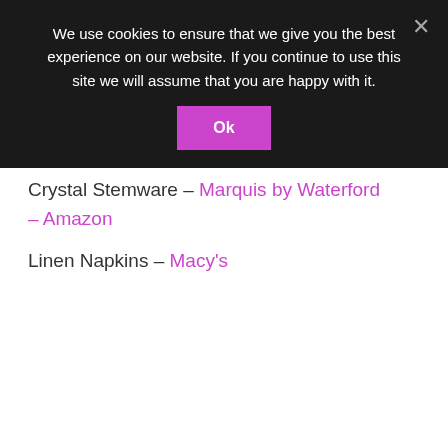We use cookies to ensure that we give you the best experience on our website. If you continue to use this site we will assume that you are happy with it.
Ok
Crystal Stemware – Marquis by Waterford – Amazon
Linen Napkins – Macy's